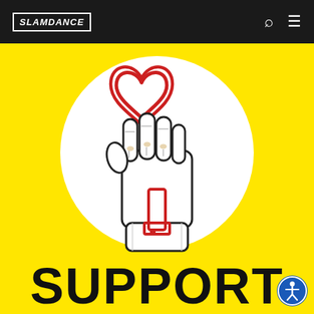SLAMDANCE
[Figure (illustration): A raised fist holding a red heart shape on top, illustrated in black outline on a white circle, set against a bright yellow background. Below the fist hangs a red key or tag shape.]
SUPPORT